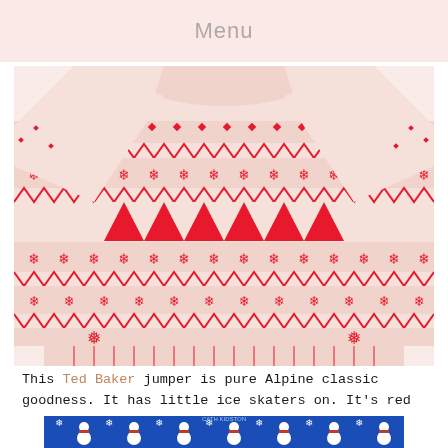Menu
[Figure (photo): Red and white Fair Isle / Alpine pattern knit jumper (Ted Baker) with ice skater motifs, photographed flat on white background]
This Ted Baker jumper is pure Alpine classic goodness. It has little ice skaters on. It's red and white. What's not to love?
[Figure (photo): Blue Christmas jumper with snowman and snowflake pattern, partially visible at bottom of page]